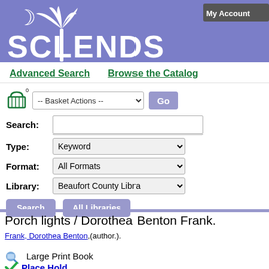[Figure (logo): SCLENDS library catalog header banner with purple background, palm tree logo, moon icon, and 'My Account' button in top right]
Advanced Search
Browse the Catalog
[Figure (screenshot): Basket icon with count 0 and Basket Actions dropdown with Go button]
Search: [text input field]
Type: Keyword
Format: All Formats
Library: Beaufort County Libra
Search   All Libraries
Porch lights / Dorothea Benton Frank.
Frank, Dorothea Benton,(author.).
Large Print Book
Place Hold